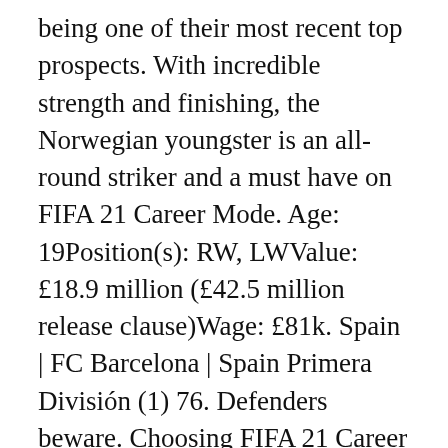being one of their most recent top prospects. With incredible strength and finishing, the Norwegian youngster is an all-round striker and a must have on FIFA 21 Career Mode. Age: 19Position(s): RW, LWValue: £18.9 million (£42.5 million release clause)Wage: £81k. Spain | FC Barcelona | Spain Primera División (1) 76. Defenders beware. Choosing FIFA 21 Career Mode's best Spanish wonderkids. FIFA 21 doesn't come out until 9 October, and yet it's already pretty clear which stars will headline the under-21s class of wonderkids. Gleichzeitig ist der Spieler vom FC Barcelona in seiner Spezialversion per SBC ... As of the game's launch, he is not in any mode in the game. Teenager Ansu Fati looks set to become